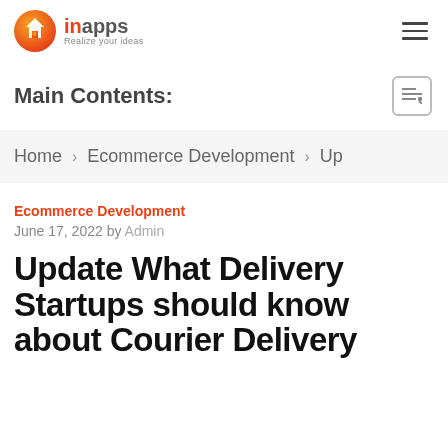inapps – Realize your ideas
Main Contents:
Home > Ecommerce Development > Up
Ecommerce Development
June 17, 2022 by Admin
Update What Delivery Startups should know about Courier Delivery